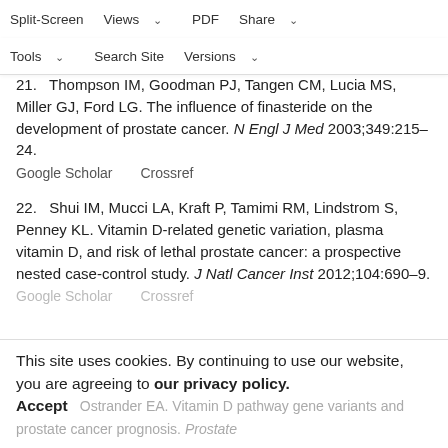N; Freedman ND. Vitamin D-related genes, serum vitamin D concentration and prostate cancer. Carcinogenesis 2009;30:769–76....
Split-Screen | Views | PDF | Share | Tools | Search Site | Versions
21. Thompson IM, Goodman PJ, Tangen CM, Lucia MS, Miller GJ, Ford LG. The influence of finasteride on the development of prostate cancer. N Engl J Med 2003;349:215–24.
Google Scholar    Crossref
22. Shui IM, Mucci LA, Kraft P, Tamimi RM, Lindstrom S, Penney KL. Vitamin D-related genetic variation, plasma vitamin D, and risk of lethal prostate cancer: a prospective nested case-control study. J Natl Cancer Inst 2012;104:690–9.
Google Scholar    Crossref
This site uses cookies. By continuing to use our website, you are agreeing to our privacy policy.
Accept